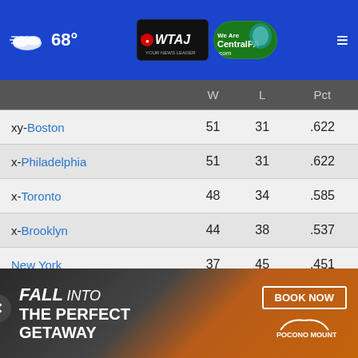68° WTAJ CentralPA.com
|  | W | L | Pct |
| --- | --- | --- | --- |
| xy-Boston | 51 | 31 | .622 |
| x-Philadelphia | 51 | 31 | .622 |
| x-Toronto | 48 | 34 | .585 |
| x-Brooklyn | 44 | 38 | .537 |
| New York | 37 | 45 | .451 |
Central Divison
|  | W | L | Pct |
| --- | --- | --- | --- |
| xy-Milwaukee |  |  |  |
| x-Chicago |  |  |  |
[Figure (screenshot): Advertisement overlay: FALL INTO THE PERFECT GETAWAY with BOOK NOW button and Pocono Mountains logo]